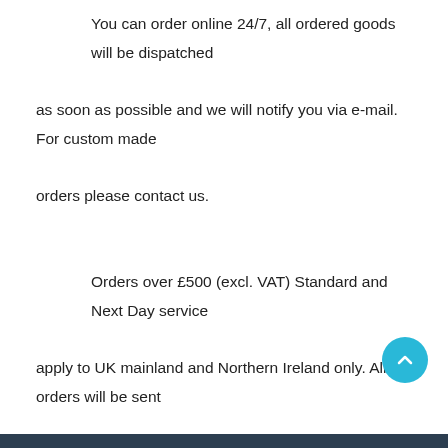You can order online 24/7, all ordered goods will be dispatched as soon as possible and we will notify you via e-mail. For custom made orders please contact us.
Orders over £500 (excl. VAT) Standard and Next Day service apply to UK mainland and Northern Ireland only. All orders will be sent by a trackable method.
You have the right to cancel your online website order within 14 calendar working days of ordering, or 14 calendar days of receipt of the goods (whichever is the longer).